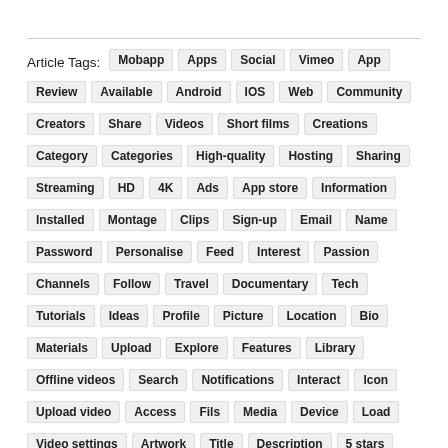Article Tags: Mobapp Apps Social Vimeo App Review Available Android IOS Web Community Creators Share Videos Short films Creations Category Categories High-quality Hosting Sharing Streaming HD 4K Ads App store Information Installed Montage Clips Sign-up Email Name Password Personalise Feed Interest Passion Channels Follow Travel Documentary Tech Tutorials Ideas Profile Picture Location Bio Materials Upload Explore Features Library Offline videos Search Notifications Interact Icon Upload video Access Fils Media Device Load Video settings Artwork Title Description 5 stars Rating Inspiration Creativity Community sharing Viewers Art Talent Highly recommended